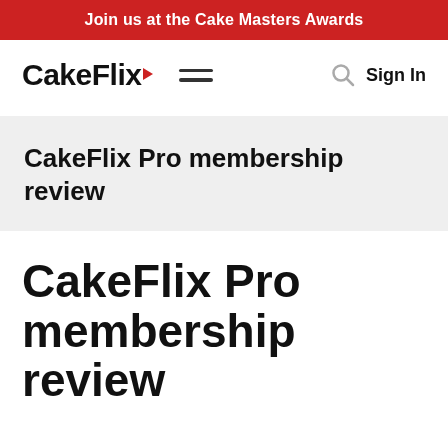Join us at the Cake Masters Awards
[Figure (logo): CakeFlix logo with red play button triangle, hamburger menu icon, search icon, and Sign In text]
CakeFlix Pro membership review
CakeFlix Pro membership review